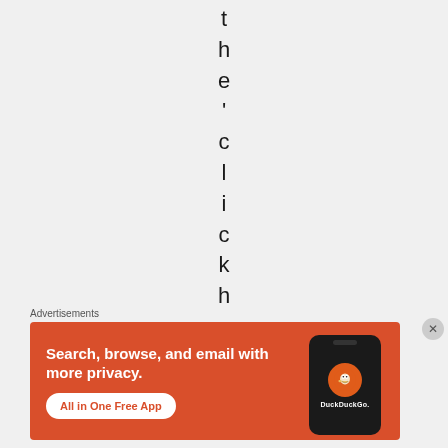the ' clickhe-
Advertisements
[Figure (illustration): DuckDuckGo advertisement banner with orange background showing 'Search, browse, and email with more privacy. All in One Free App' text and a phone image with the DuckDuckGo logo]